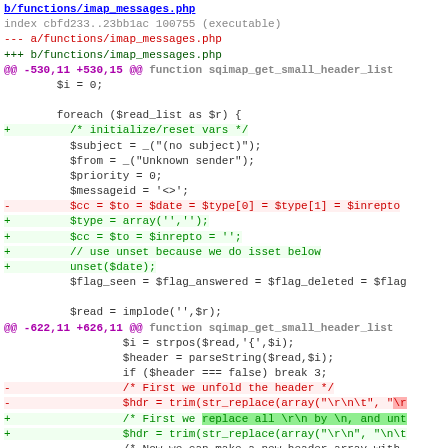[Figure (screenshot): A unified diff view of functions/imap_messages.php showing code changes with added and removed lines highlighted in green and red respectively.]